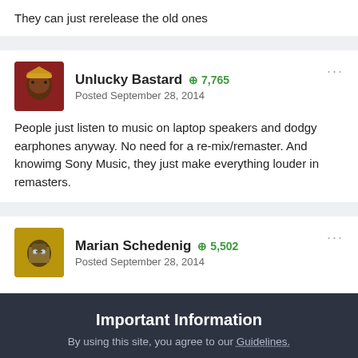They can just rerelease the old ones
Unlucky Bastard +7,765
Posted September 28, 2014

People just listen to music on laptop speakers and dodgy earphones anyway. No need for a re-mix/remaster. And knowimg Sony Music, they just make everything louder in remasters.
Marian Schedenig +5,502
Posted September 28, 2014
Important Information
By using this site, you agree to our Guidelines.
✓ I accept